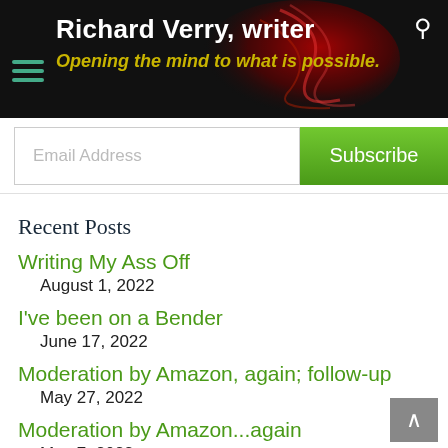Richard Verry, writer — Opening the mind to what is possible.
Email Address
Subscribe
Recent Posts
Writing My Ass Off
August 1, 2022
I've been on a Bender
June 17, 2022
Moderation by Amazon, again; follow-up
May 27, 2022
Moderation by Amazon...again
May 7, 2022
What's new in my writing